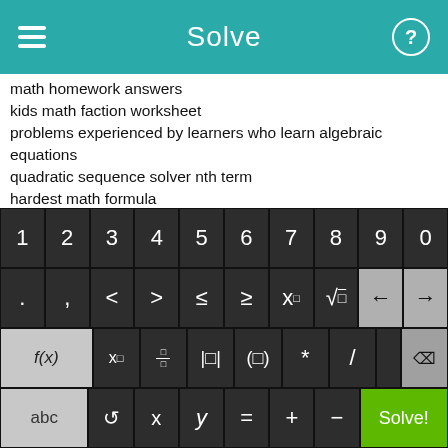Solve
math homework answers
kids math faction worksheet
problems experienced by learners who learn algebraic equations
quadratic sequence solver nth term
hardest math formula
To calculate quadratic equations in TI-84 calculator
word problems decimals multiplying dividing
determining type of graph equation, linear
different kinds of math trivia
Free Downlowdable Financial Management Books
[Figure (screenshot): Math keyboard with number row (1-0), operator row (. , < > ≤ ≥ x□ √ ← →), function row (f(x) x□ fraction absolute-value parentheses * / backspace), and bottom row (abc ↺ x y = + - Solve! button)]